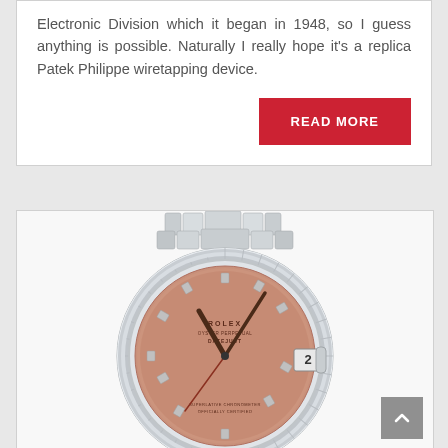Electronic Division which it began in 1948, so I guess anything is possible. Naturally I really hope it's a replica Patek Philippe wiretapping device.
READ MORE
[Figure (photo): A Rolex Datejust watch with a pink/salmon dial featuring diamond hour markers, a fluted silver bezel, stainless steel Jubilee bracelet, and a date window showing the number 2.]